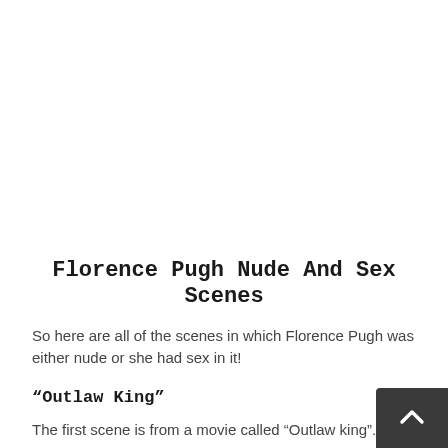[Figure (other): Blank white space area at the top of the page, likely where an image or advertisement was placed]
Florence Pugh Nude And Sex Scenes
So here are all of the scenes in which Florence Pugh was either nude or she had sex in it!
“Outlaw King”
The first scene is from a movie called “Outlaw king”. In the scene we see Florence Pugh firsts showing us her poke